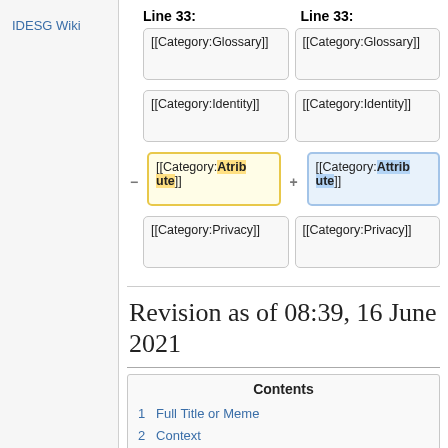IDESG Wiki
| Line 33: | Line 33: |
| --- | --- |
| [[Category:Glossary]] | [[Category:Glossary]] |
| [[Category:Identity]] | [[Category:Identity]] |
| [[Category:Atribute]] | [[Category:Attribute]] |
| [[Category:Privacy]] | [[Category:Privacy]] |
Revision as of 08:39, 16 June 2021
Contents
1  Full Title or Meme
2  Context
3  Problems
4  Solutions